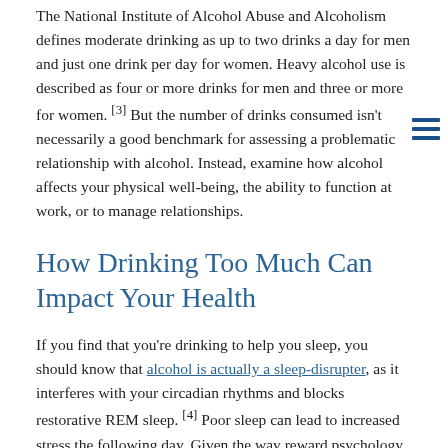The National Institute of Alcohol Abuse and Alcoholism defines moderate drinking as up to two drinks a day for men and just one drink per day for women. Heavy alcohol use is described as four or more drinks for men and three or more for women. [3] But the number of drinks consumed isn't necessarily a good benchmark for assessing a problematic relationship with alcohol. Instead, examine how alcohol affects your physical well-being, the ability to function at work, or to manage relationships.
How Drinking Too Much Can Impact Your Health
If you find that you're drinking to help you sleep, you should know that alcohol is actually a sleep-disrupter, as it interferes with your circadian rhythms and blocks restorative REM sleep. [4] Poor sleep can lead to increased stress the following day. Given the way reward psychology works, it makes sense